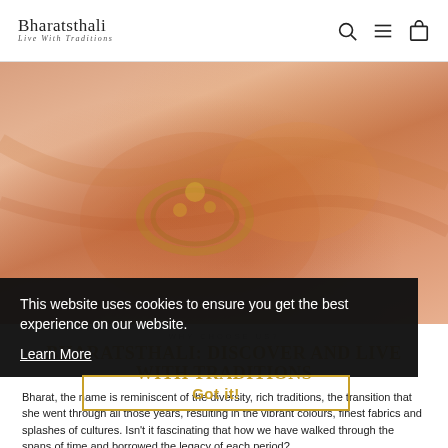Bharatsthali — Live With Traditions
[Figure (photo): Close-up photo of woman's hands with bangles and jewelry wearing a traditional Indian saree in warm peach/orange tones]
WHY CHOOSE US?
BHARATSTHALI: DISCOVER AND LIVE WITH TRADITIONS
Bharat, the name is reminiscent of the diversity, rich traditions, the transition that she went through all those years, resulting in the vibrant colours, finest fabrics and splashes of cultures. Isn't it fascinating that how we have walked through the spans of time and borrowed the legacy of each period?
This website uses cookies to ensure you get the best experience on our website. Learn More
Got it!